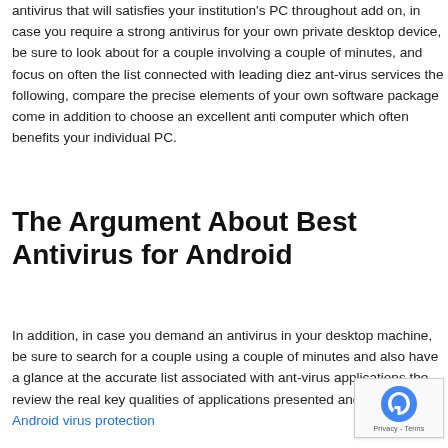antivirus that will satisfies your institution's PC throughout add on, in case you require a strong antivirus for your own private desktop device, be sure to look about for a couple involving a couple of minutes, and focus on often the list connected with leading diez ant-virus services the following, compare the precise elements of your own software package come in addition to choose an excellent anti computer which often benefits your individual PC.
The Argument About Best Antivirus for Android
In addition, in case you demand an antivirus in your desktop machine, be sure to search for a couple using a couple of minutes and also have a glance at the accurate list associated with ant-virus applications the, review the real key qualities of applications presented and choose top Android virus protection